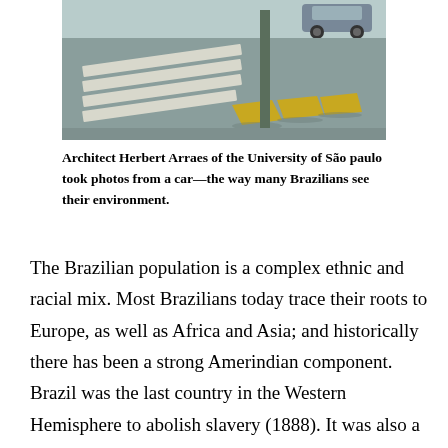[Figure (photo): Street-level photo taken from a car showing a road with white crosswalk stripes, yellow parking bumpers/stops, a green metal pole, and a car visible in the upper right. The scene is an urban Brazilian street environment.]
Architect Herbert Arraes of the University of São paulo took photos from a car—the way many Brazilians see their environment.
The Brazilian population is a complex ethnic and racial mix. Most Brazilians today trace their roots to Europe, as well as Africa and Asia; and historically there has been a strong Amerindian component. Brazil was the last country in the Western Hemisphere to abolish slavery (1888). It was also a monarchy until 1889. The persistence of